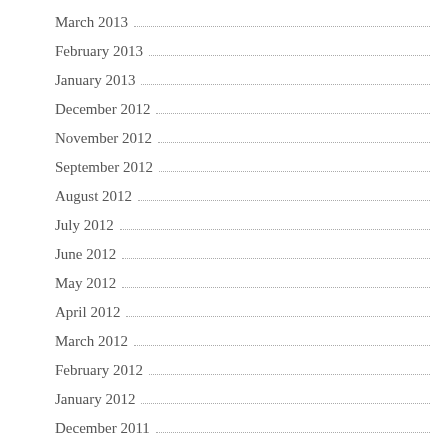March 2013
February 2013
January 2013
December 2012
November 2012
September 2012
August 2012
July 2012
June 2012
May 2012
April 2012
March 2012
February 2012
January 2012
December 2011